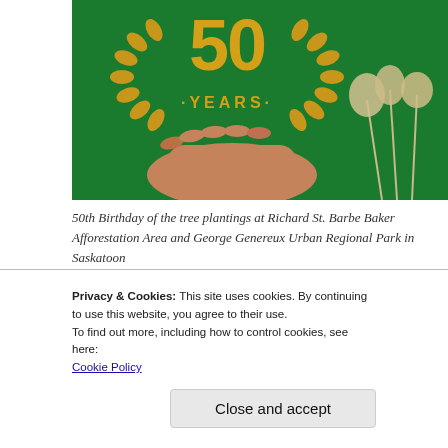[Figure (photo): A hand holding something against a green background with a gold '50 YEARS' laurel wreath logo, and dried grass or flowers on the right side.]
50th Birthday of the tree plantings at Richard St. Barbe Baker Afforestation Area and George Genereux Urban Regional Park in Saskatoon
A round of appreciation is extended to the City of Saskatoon, Mosaic, Sask Energy for their
Privacy & Cookies: This site uses cookies. By continuing to use this website, you agree to their use.
To find out more, including how to control cookies, see here:
Cookie Policy